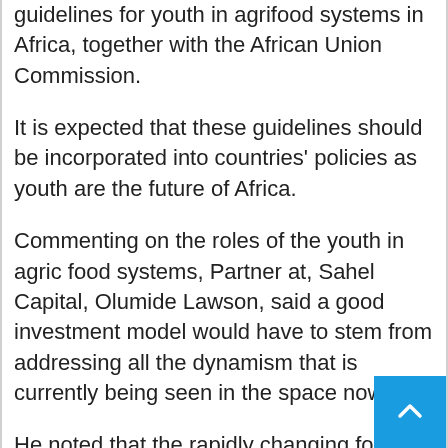guidelines for youth in agrifood systems in Africa, together with the African Union Commission.
It is expected that these guidelines should be incorporated into countries' policies as youth are the future of Africa.
Commenting on the roles of the youth in agric food systems, Partner at, Sahel Capital, Olumide Lawson, said a good investment model would have to stem from addressing all the dynamism that is currently being seen in the space now.
He noted that the rapidly changing food and agricultural landscape and social economic demographics, which in themselves are creating opportunities to not only invest in but also build transformational companies within the sector.